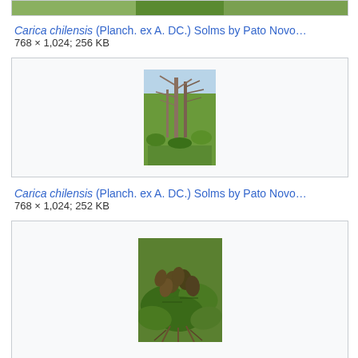[Figure (photo): Top portion of an image box showing a plant (Carica chilensis), only bottom visible]
Carica chilensis (Planch. ex A. DC.) Solms by Pato Novo…
768 × 1,024; 256 KB
[Figure (photo): Photo of Carica chilensis tree with bare branches and green foliage in background]
Carica chilensis (Planch. ex A. DC.) Solms by Pato Novo…
768 × 1,024; 252 KB
[Figure (photo): Photo of Carica chilensis showing green fruits/pods on the plant]